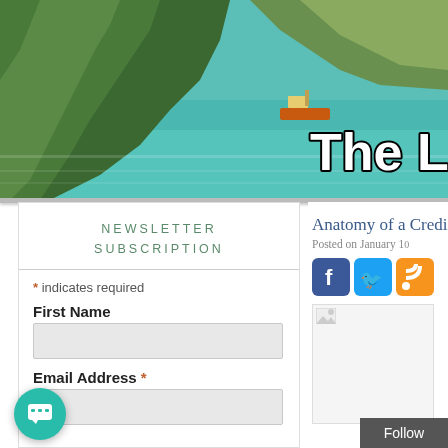[Figure (photo): Travel blog header banner showing coastal karst landscape with green rocky cliffs, turquoise water, and a boat. Overlaid text reads 'The Lazy Trave' (cut off).]
The Lazy Trave(ler)
NEWSLETTER
SUBSCRIPTION
* indicates required
First Name
Email Address *
Anatomy of a Credi(t Card...)
Posted on January 1(0...)
[Figure (screenshot): Social media share icons: Facebook (blue), Twitter (blue), RSS (orange)]
[Figure (photo): Partially loaded article image placeholder]
Follow